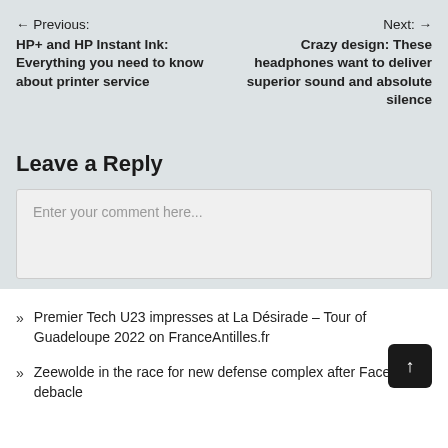← Previous: HP+ and HP Instant Ink: Everything you need to know about printer service
Next: → Crazy design: These headphones want to deliver superior sound and absolute silence
Leave a Reply
Enter your comment here...
» Premier Tech U23 impresses at La Désirade – Tour of Guadeloupe 2022 on FranceAntilles.fr
» Zeewolde in the race for new defense complex after Facebook debacle